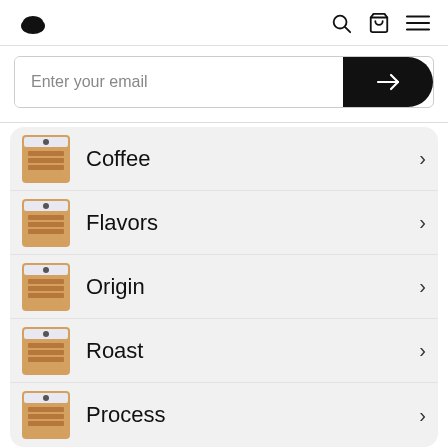[Figure (screenshot): Website header with logo, search icon, bag icon, and hamburger menu icon]
Enter your email
Coffee
Flavors
Origin
Roast
Process
Gears & Merch